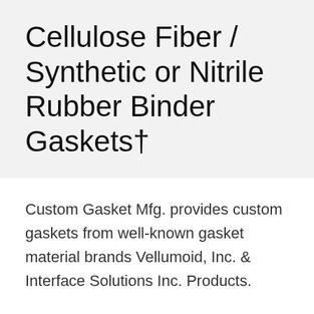Cellulose Fiber / Synthetic or Nitrile Rubber Binder Gaskets†
Custom Gasket Mfg. provides custom gaskets from well-known gasket material brands Vellumoid, Inc. & Interface Solutions Inc. Products.
Please visit our gasket materials page for more information on our extensive selection of materials.
For more information on custom fiber gaskets and seals or to speak with one of our knowledgeable